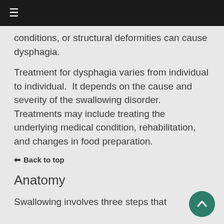≡
conditions, or structural deformities can cause dysphagia.
Treatment for dysphagia varies from individual to individual. It depends on the cause and severity of the swallowing disorder. Treatments may include treating the underlying medical condition, rehabilitation, and changes in food preparation.
↑ Back to top
Anatomy
Swallowing involves three steps that